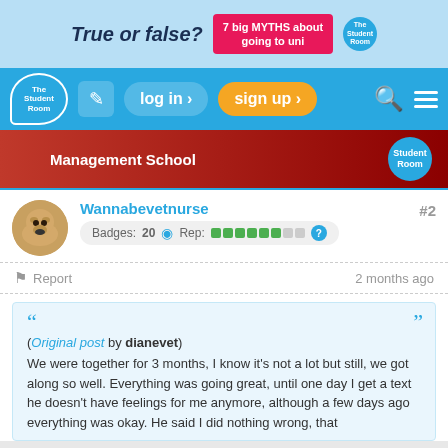[Figure (screenshot): Advertisement banner: 'True or false? 7 big MYTHS about going to uni' on light blue background with The Student Room logo]
[Figure (screenshot): The Student Room navigation bar with logo, edit icon, log in button, sign up button, search icon, and hamburger menu]
[Figure (screenshot): University Management School advertisement on dark red background with Student Room badge]
Wannabevetnurse
Badges: 20  Rep: ████████ ?
#2
Report  2 months ago
(Original post by dianevet)
We were together for 3 months, I know it's not a lot but still, we got along so well. Everything was going great, until one day I get a text he doesn't have feelings for me anymore, although a few days ago everything was okay. He said I did nothing wrong, that